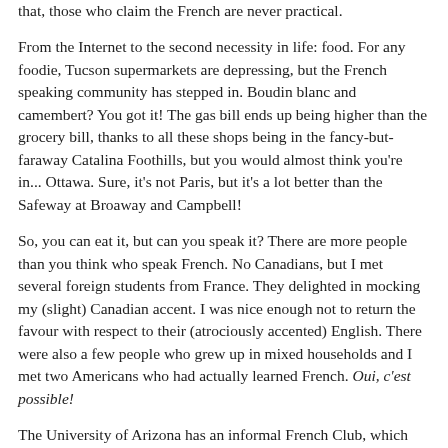that, those who claim the French are never practical.
From the Internet to the second necessity in life: food. For any foodie, Tucson supermarkets are depressing, but the French speaking community has stepped in. Boudin blanc and camembert? You got it! The gas bill ends up being higher than the grocery bill, thanks to all these shops being in the fancy-but-faraway Catalina Foothills, but you would almost think you're in... Ottawa. Sure, it's not Paris, but it's a lot better than the Safeway at Broaway and Campbell!
So, you can eat it, but can you speak it? There are more people than you think who speak French. No Canadians, but I met several foreign students from France. They delighted in mocking my (slight) Canadian accent. I was nice enough not to return the favour with respect to their (atrociously accented) English. There were also a few people who grew up in mixed households and I met two Americans who had actually learned French. Oui, c'est possible!
The University of Arizona has an informal French Club, which gets together to chat or watch French movies. While